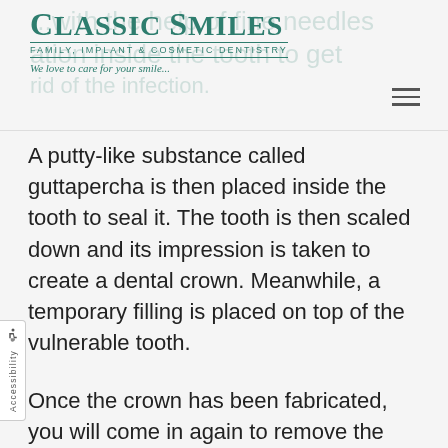Classic Smiles — Family, Implant & Cosmetic Dentistry — We love to care for your smile...
A putty-like substance called guttapercha is then placed inside the tooth to seal it. The tooth is then scaled down and its impression is taken to create a dental crown. Meanwhile, a temporary filling is placed on top of the vulnerable tooth.
Once the crown has been fabricated, you will come in again to remove the temporary filling and to fit the crown on top of the tooth.
It is normal to feel mild pain around the site of the surgery a few days after the treatment. This can easily